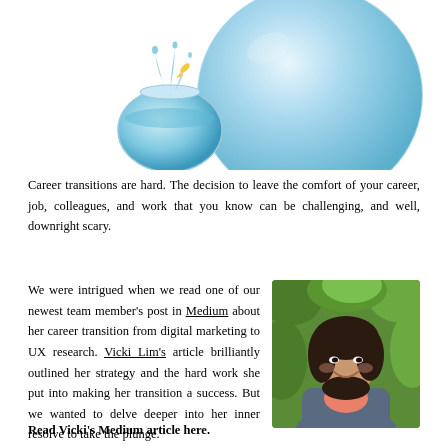[Figure (illustration): Two water-filled glass bowls of different sizes — a small fishbowl on the left with water splashing, and a large round water bubble/bowl on the right. A small fish appears to be jumping from the small bowl toward the large one.]
Career transitions are hard. The decision to leave the comfort of your career, job, colleagues, and work that you know can be challenging, and well, downright scary.
We were intrigued when we read one of our newest team member's post in Medium about her career transition from digital marketing to UX research. Vicki Lim's article brilliantly outlined her strategy and the hard work she put into making her transition a success. But we wanted to delve deeper into her inner resolve to take the plunge.
[Figure (photo): Headshot photo of Vicki Lim, a woman with long dark hair, smiling, wearing a blazer, outdoors with green foliage in background.]
Read Vicki's Medium article here.